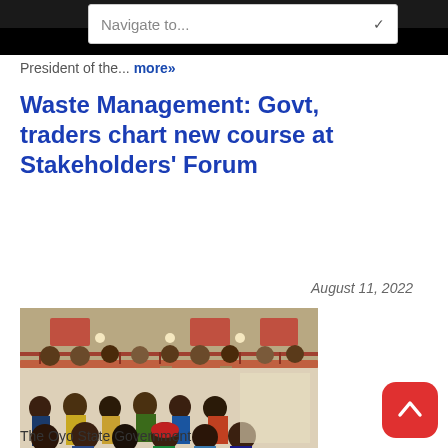Navigate to...
President of the... more»
Waste Management: Govt, traders chart new course at Stakeholders' Forum
August 11, 2022
[Figure (photo): People seated in rows inside a large hall with balcony, appearing to attend a stakeholders' forum meeting]
The Oyo State Government